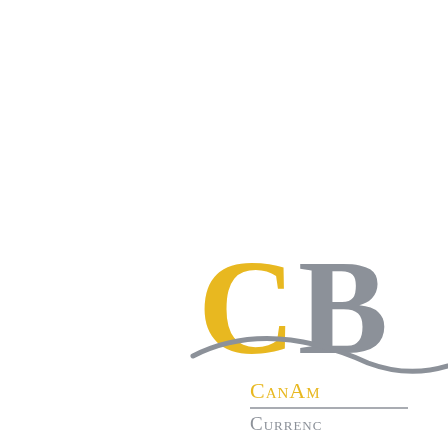[Figure (logo): CanAm Currency Bureau logo — large golden/yellow 'C' and partially visible 'B' letters with a grey swoosh arc, text 'CanAm' in gold small-caps and 'Currency' in grey small-caps below, partially cropped at right edge]